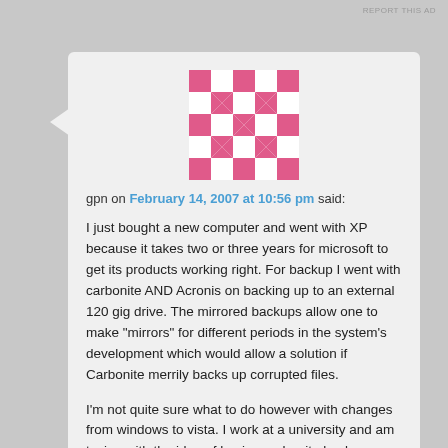REPORT THIS AD
[Figure (illustration): Pink and white geometric pattern avatar/identicon for user gpn]
gpn on February 14, 2007 at 10:56 pm said:
I just bought a new computer and went with XP because it takes two or three years for microsoft to get its products working right. For backup I went with carbonite AND Acronis on backing up to an external 120 gig drive. The mirrored backups allow one to make "mirrors" for different periods in the system's development which would allow a solution if Carbonite merrily backs up corrupted files.
I'm not quite sure what to do however with changes from windows to vista. I work at a university and am toying with the idea of having carbonite back up my computer there: I can drag